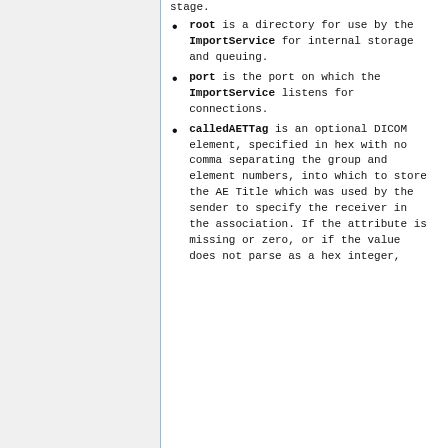root is a directory for use by the ImportService for internal storage and queuing.
port is the port on which the ImportService listens for connections.
calledAETTag is an optional DICOM element, specified in hex with no comma separating the group and element numbers, into which to store the AE Title which was used by the sender to specify the receiver in the association. If the attribute is missing or zero, or if the value does not parse as a hex integer, the DicomImportService...